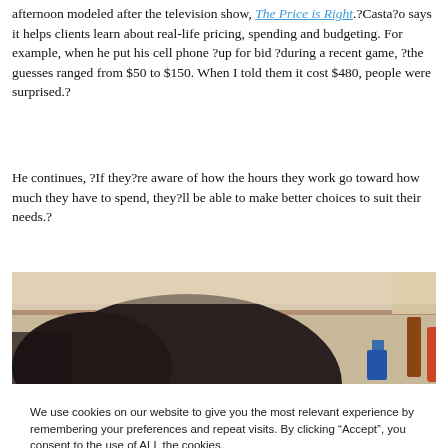afternoon modeled after the television show, The Price is Right. ?Casta?o says it helps clients learn about real-life pricing, spending and budgeting. For example, when he put his cell phone ?up for bid ?during a recent game, ?the guesses ranged from $50 to $150. When I told them it cost $480, people were surprised.?
He continues, ?If they?re aware of how the hours they work go toward how much they have to spend, they?ll be able to make better choices to suit their needs.?
[Figure (photo): A partial photo showing the back of a person's head with dark curly hair, and shelves with bottles in the background.]
We use cookies on our website to give you the most relevant experience by remembering your preferences and repeat visits. By clicking “Accept”, you consent to the use of ALL the cookies.
Cookie settings   ACCEPT